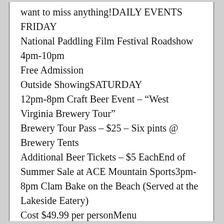want to miss anything!DAILY EVENTS FRIDAY
National Paddling Film Festival Roadshow 4pm-10pm
Free Admission
Outside ShowingSATURDAY
12pm-8pm Craft Beer Event – “West Virginia Brewery Tour”
Brewery Tour Pass – $25 – Six pints @ Brewery Tents
Additional Beer Tickets – $5 EachEnd of Summer Sale at ACE Mountain Sports3pm-8pm Clam Bake on the Beach (Served at the Lakeside Eatery)
Cost $49.99 per personMenu